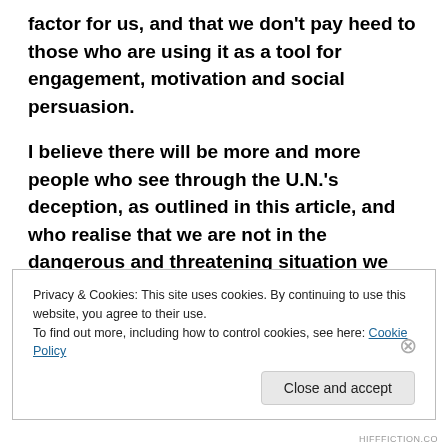factor for us, and that we don't pay heed to those who are using it as a tool for engagement, motivation and social persuasion.
I believe there will be more and more people who see through the U.N.'s deception, as outlined in this article, and who realise that we are not in the dangerous and threatening situation we have been told we are in. If you are one of them, how do you respond to people who are terrified about the future and urging you to take action, to get involved and to
Privacy & Cookies: This site uses cookies. By continuing to use this website, you agree to their use.
To find out more, including how to control cookies, see here: Cookie Policy